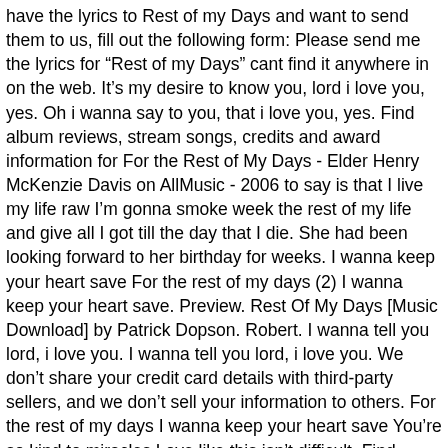have the lyrics to Rest of my Days and want to send them to us, fill out the following form: Please send me the lyrics for "Rest of my Days" cant find it anywhere in on the web. It's my desire to know you, lord i love you, yes. Oh i wanna say to you, that i love you, yes. Find album reviews, stream songs, credits and award information for For the Rest of My Days - Elder Henry McKenzie Davis on AllMusic - 2006 to say is that I live my life raw I'm gonna smoke week the rest of my life and give all I got till the day that I die. She had been looking forward to her birthday for weeks. I wanna keep your heart save For the rest of my days (2) I wanna keep your heart save. Preview. Rest Of My Days [Music Download] by Patrick Dopson. Robert. I wanna tell you lord, i love you. I wanna tell you lord, i love you. We don't share your credit card details with third-party sellers, and we don't sell your information to others. For the rest of my days I wanna keep your heart save You're so kind to miracles Love like this isn't difficult. Find album reviews, stream songs, credits and award information for For the Rest of My